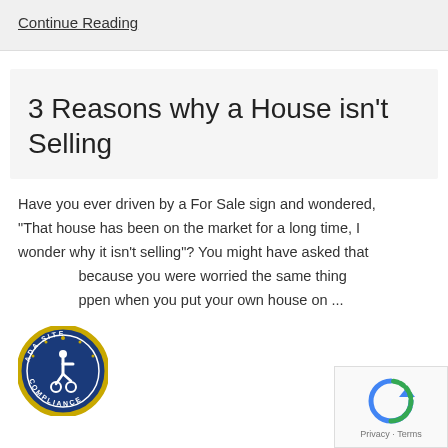Continue Reading
3 Reasons why a House isn't Selling
Have you ever driven by a For Sale sign and wondered, "That house has been on the market for a long time, I wonder why it isn't selling"? You might have asked that because you were worried the same thing happen when you put your own house on ...
[Figure (logo): ADA Site Compliance badge - circular blue and gold seal with wheelchair accessibility icon]
[Figure (logo): Google reCAPTCHA badge with Privacy and Terms links]